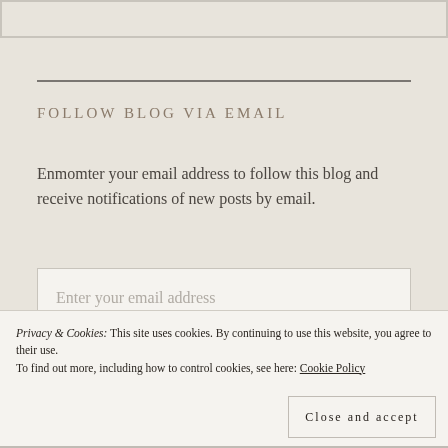[Figure (other): Partial border box visible at top of page]
FOLLOW BLOG VIA EMAIL
Enmomter your email address to follow this blog and receive notifications of new posts by email.
[Figure (other): Email address input field with placeholder text 'Enter your email address']
Privacy & Cookies: This site uses cookies. By continuing to use this website, you agree to their use. To find out more, including how to control cookies, see here: Cookie Policy
Close and accept